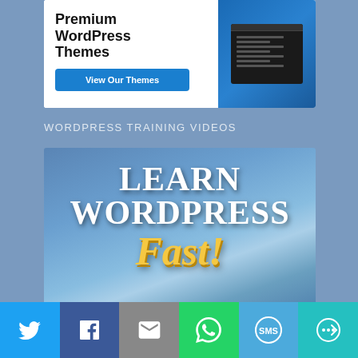[Figure (screenshot): Premium WordPress Themes banner ad with 'View Our Themes' button and dark theme mockup screenshot on blue background]
WORDPRESS TRAINING VIDEOS
[Figure (illustration): Learn WordPress Fast promotional banner with white bold text 'LEARN WORDPRESS' and gold italic 'Fast!' on blue gradient background]
[Figure (infographic): Social sharing bar with Twitter, Facebook, Email, WhatsApp, SMS, and More buttons]